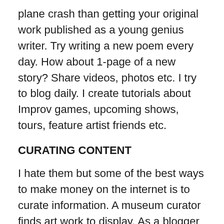plane crash than getting your original work published as a young genius writer. Try writing a new poem every day. How about 1-page of a new story? Share videos, photos etc. I try to blog daily. I create tutorials about Improv games, upcoming shows, tours, feature artist friends etc.
CURATING CONTENT
I hate them but some of the best ways to make money on the internet is to curate information. A museum curator finds art work to display. As a blogger you can curate info on pets, celebrities, politics, fashion, art, music, movies, theater etc.
But even if your curating photos and videos add your own original captions. If you just copy and paste text you actually hurt your blogs reputation with SEO algorithms.